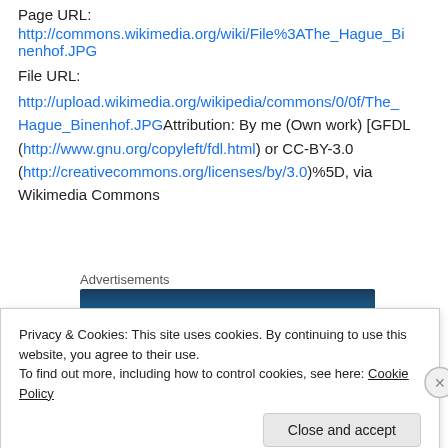Page URL:
http://commons.wikimedia.org/wiki/File%3AThe_Hague_Binenhof.JPG
File URL:
http://upload.wikimedia.org/wikipedia/commons/0/0f/The_Hague_Binenhof.JPGAttribution: By me (Own work) [GFDL (http://www.gnu.org/copyleft/fdl.html) or CC-BY-3.0 (http://creativecommons.org/licenses/by/3.0)%5D, via Wikimedia Commons
Advertisements
[Figure (screenshot): Advertisement banner with blue and green gradient background]
Privacy & Cookies: This site uses cookies. By continuing to use this website, you agree to their use.
To find out more, including how to control cookies, see here: Cookie Policy
Close and accept